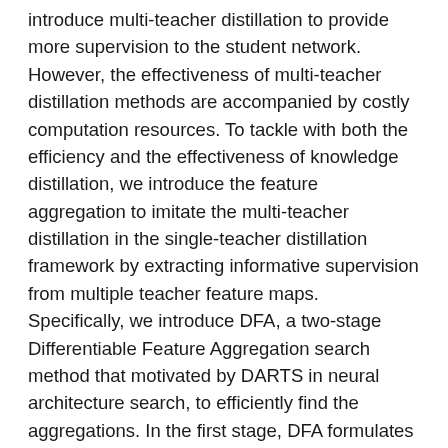introduce multi-teacher distillation to provide more supervision to the student network. However, the effectiveness of multi-teacher distillation methods are accompanied by costly computation resources. To tackle with both the efficiency and the effectiveness of knowledge distillation, we introduce the feature aggregation to imitate the multi-teacher distillation in the single-teacher distillation framework by extracting informative supervision from multiple teacher feature maps. Specifically, we introduce DFA, a two-stage Differentiable Feature Aggregation search method that motivated by DARTS in neural architecture search, to efficiently find the aggregations. In the first stage, DFA formulates the searching problem as a bi-level optimization and leverages a novel bridge loss, which consists of a student-to-teacher path and a teacher-to-student path, to find appropriate feature aggregations. The two paths act as two players against each other, trying to optimize the unified architecture parameters to the opposite directions while guaranteeing both expressivity and learnability of the feature aggregation